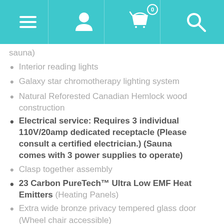[Figure (screenshot): Mobile website navigation header with teal/cyan background showing hamburger menu, user profile icon, shopping cart with badge '0', and search icon]
sauna)
Interior reading lights
Galaxy star chromotherapy lighting system
Natural Reforested Canadian Hemlock wood construction
Electrical service: Requires 3 individual 110V/20amp dedicated receptacle (Please consult a certified electrician.) (Sauna comes with 3 power supplies to operate)
Clasp together assembly
23 Carbon PureTech™ Ultra Low EMF Heat Emitters (Heating Panels)
Extra wide bronze privacy tempered glass door (Wheel chair accessible)
Roof vent
Sauna weight: 920 lbs.
Shipping weight: 1130 lbs.